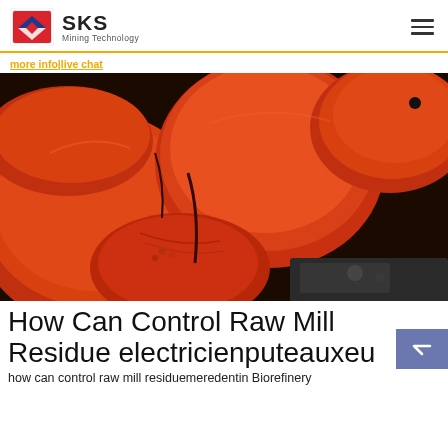SKS Mining Technology
[Figure (photo): Close-up photo of red-painted heavy industrial mill components (large circular disc/wheel parts), showing cast metal surfaces with bolted connections, dark background elements visible at bottom right.]
How Can Control Raw Mill Residue electricienputeauxeu
how can control raw mill residuemeredentin Biorefinery